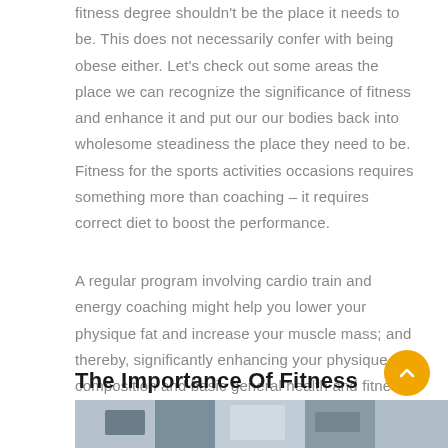fitness degree shouldn't be the place it needs to be. This does not necessarily confer with being obese either. Let's check out some areas the place we can recognize the significance of fitness and enhance it and put our our bodies back into wholesome steadiness the place they need to be. Fitness for the sports activities occasions requires something more than coaching – it requires correct diet to boost the performance.
A regular program involving cardio train and energy coaching might help you lower your physique fat and increase your muscle mass; and thereby, significantly enhancing your physique composition and basic general health and fitness. Muscular Endurance: Endurance is the power to exert for a long period of time.
The Importance Of Fitness
[Figure (photo): Partial view of a fitness-related photograph at the bottom of the page, showing an indoor setting.]